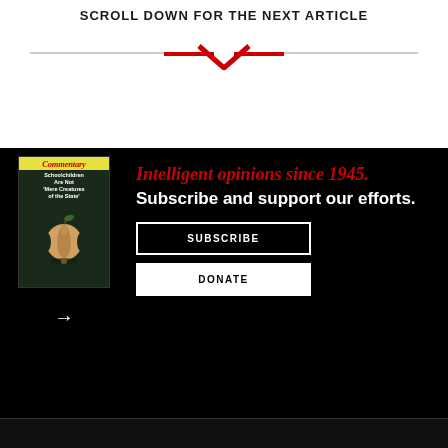SCROLL DOWN FOR THE NEXT ARTICLE
[Figure (illustration): Red chevron/arrow pointing downward with horizontal lines on either side forming a decorative divider]
[Figure (photo): Commentary magazine cover showing an apple core illustration with headline 'Schoolchildren Are Not Mere Creatures of the State']
Intelligent opinions since 1945.
Subscribe and support our efforts.
SUBSCRIBE
DONATE